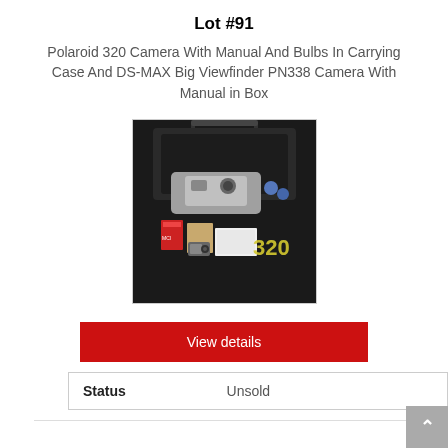Lot #91
Polaroid 320 Camera With Manual And Bulbs In Carrying Case And DS-MAX Big Viewfinder PN338 Camera With Manual in Box
[Figure (photo): Photograph of a Polaroid 320 camera with accessories in a black carrying case, along with manuals, bulbs, and a DS-MAX camera in box on a dark background.]
View details
| Status | Unsold |
| --- | --- |
| Status | Unsold |